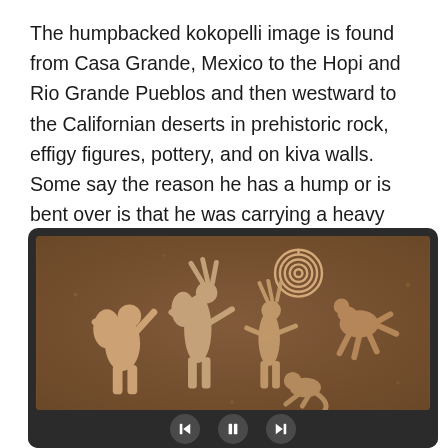The humpbacked kokopelli image is found from Casa Grande, Mexico to the Hopi and Rio Grande Pueblos and then westward to the Californian deserts in prehistoric rock, effigy figures, pottery, and on kiva walls.  Some say the reason he has a hump or is bent over is that he was carrying a heavy sack, perhaps full of seeds or some say with an unborn child he is going to deliver.
[Figure (photo): A photograph of petroglyphs on a dark brown rock surface showing humpbacked kokopelli figures and other Native American rock art. A video player control bar is visible at the bottom with back, pause, and forward buttons.]